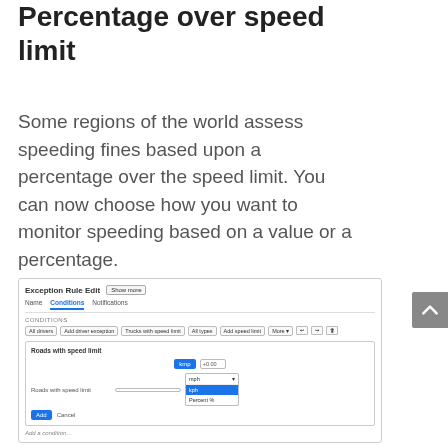Percentage over speed limit
Some regions of the world assess speeding fines based upon a percentage over the speed limit. You can now choose how you want to monitor speeding based on a value or a percentage.
[Figure (screenshot): Screenshot of an 'Exception Rule Edit' interface showing a Conditions tab with a 'Roads with speed limit' section. A dropdown menu is open showing options including 'mph', 'kph', and 'Percent %'.]